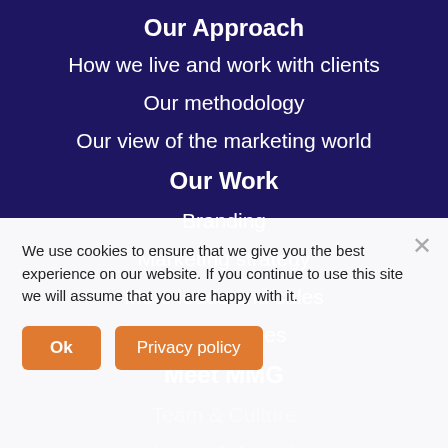Our Approach
How we live and work with clients
Our methodology
Our view of the marketing world
Our Work
Branding
Marketing strategy
More leads and sales
Case Studies
Meet MMG
Team & Culture
History & Awards
Blog
We use cookies to ensure that we give you the best experience on our website. If you continue to use this site we will assume that you are happy with it.
Ok
Privacy policy